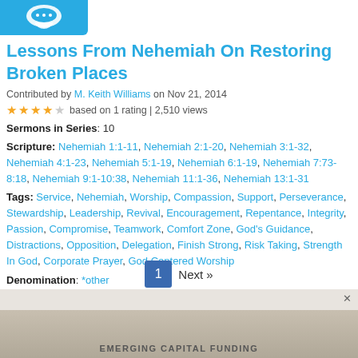[Figure (logo): Blue rounded rectangle logo with white speech bubble icon]
Lessons From Nehemiah On Restoring Broken Places
Contributed by M. Keith Williams on Nov 21, 2014
★★★★☆ based on 1 rating | 2,510 views
Sermons in Series: 10
Scripture: Nehemiah 1:1-11, Nehemiah 2:1-20, Nehemiah 3:1-32, Nehemiah 4:1-23, Nehemiah 5:1-19, Nehemiah 6:1-19, Nehemiah 7:73-8:18, Nehemiah 9:1-10:38, Nehemiah 11:1-36, Nehemiah 13:1-31
Tags: Service, Nehemiah, Worship, Compassion, Support, Perseverance, Stewardship, Leadership, Revival, Encouragement, Repentance, Integrity, Passion, Compromise, Teamwork, Comfort Zone, God's Guidance, Distractions, Opposition, Delegation, Finish Strong, Risk Taking, Strength In God, Corporate Prayer, God Centered Worship
Denomination: *other
1  Next »
[Figure (photo): Advertisement banner - EMERGING CAPITAL FUNDING]